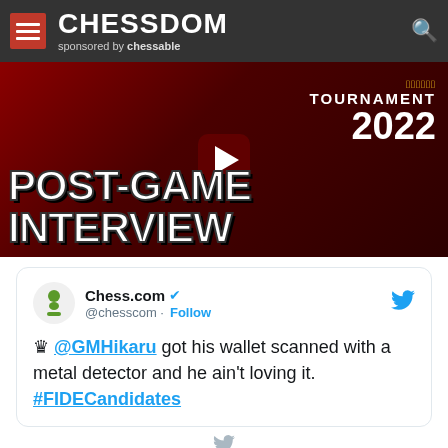CHESSDOM sponsored by chessable
[Figure (screenshot): Video thumbnail showing POST-GAME INTERVIEW with TOURNAMENT 2022 text, two chess players' faces, and a red play button overlay]
Chess.com @chesscom · Follow
♛ @GMHikaru got his wallet scanned with a metal detector and he ain't loving it. #FIDECandidates